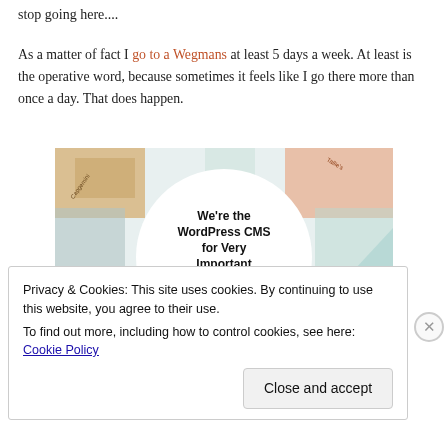stop going here....
As a matter of fact I go to a Wegmans at least 5 days a week.  At least is the operative word, because sometimes it feels like I go there more than once a day.   That does happen.
[Figure (infographic): WordPress VIP advertisement: colorful brand logos collage background with a circular white center containing bold text 'We're the WordPress CMS for Very Important Content' with WordPress VIP logo and 'Learn more →' button]
Privacy & Cookies: This site uses cookies. By continuing to use this website, you agree to their use.
To find out more, including how to control cookies, see here: Cookie Policy
Close and accept